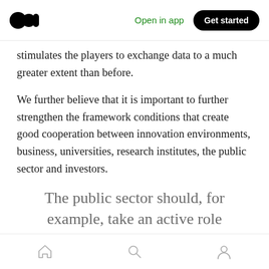Open in app | Get started
stimulates the players to exchange data to a much greater extent than before.
We further believe that it is important to further strengthen the framework conditions that create good cooperation between innovation environments, business, universities, research institutes, the public sector and investors.
The public sector should, for example, take an active role